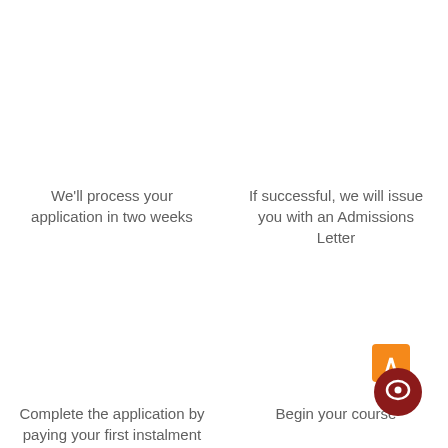We'll process your application in two weeks
If successful, we will issue you with an Admissions Letter
Complete the application by paying your first instalment
Begin your course
[Figure (other): Orange scroll-to-top button and dark red circular chat button in bottom-right corner]